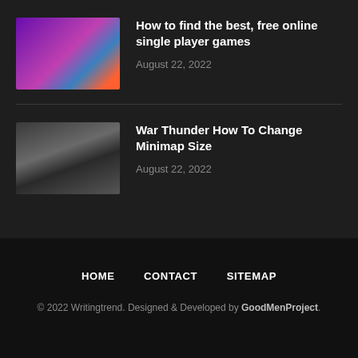[Figure (illustration): Thumbnail image with colorful gaming-themed illustration showing devices and a game controller on purple/blue/orange background]
How to find the best, free online single player games
August 22, 2022
[Figure (photo): Dark thumbnail image with gray tones, appears to show some angular object or surface]
War Thunder How To Change Minimap Size
August 22, 2022
HOME   CONTACT   SITEMAP
© 2022 Writingtrend. Designed & Developed by GoodMenProject.